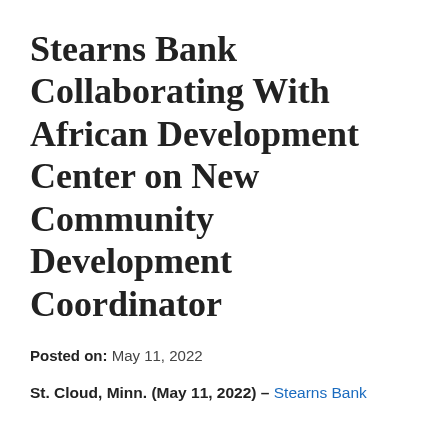Stearns Bank Collaborating With African Development Center on New Community Development Coordinator
Posted on: May 11, 2022
St. Cloud, Minn. (May 11, 2022) – Stearns Bank